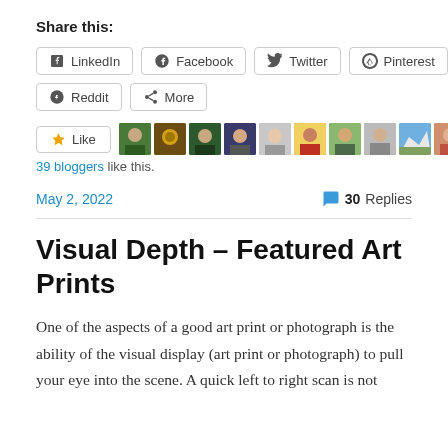Share this:
LinkedIn  Facebook  Twitter  Pinterest  Reddit  More
[Figure (other): Like button with star icon and row of blogger avatar thumbnails (39 bloggers)]
39 bloggers like this.
May 2, 2022
30 Replies
Visual Depth – Featured Art Prints
One of the aspects of a good art print or photograph is the ability of the visual display (art print or photograph) to pull your eye into the scene. A quick left to right scan is not